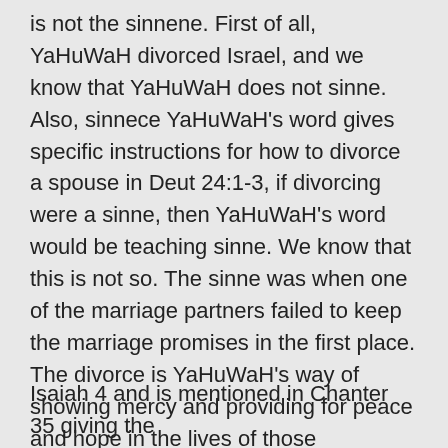is not the sinnene.  First of all, YaHuWaH divorced Israel, and we know that YaHuWaH does not sinne.  Also, sinnece YaHuWaH's word gives specific instructions for how to divorce a spouse in Deut 24:1-3, if divorcing were a sinne, then YaHuWaH's word would be teaching sinne.  We know that this is not so.  The sinne was when one of the marriage partners failed to keep the marriage promises in the first place.  The divorce is YaHuWaH's way of showing mercy and providing for peace and hope in the lives of those devastated by a failed marriage.  This is a very important distinction.
Isaiah 4 and is mentioned in Chanter 35 giving the